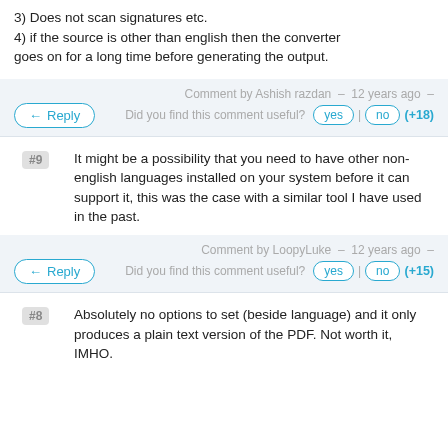3) Does not scan signatures etc.
4) if the source is other than english then the converter goes on for a long time before generating the output.
Comment by Ashish razdan — 12 years ago — Did you find this comment useful?
Reply | yes | no | (+18)
#9
It might be a possibility that you need to have other non-english languages installed on your system before it can support it, this was the case with a similar tool I have used in the past.
Comment by LoopyLuke — 12 years ago — Did you find this comment useful?
Reply | yes | no | (+15)
#8
Absolutely no options to set (beside language) and it only produces a plain text version of the PDF. Not worth it, IMHO.